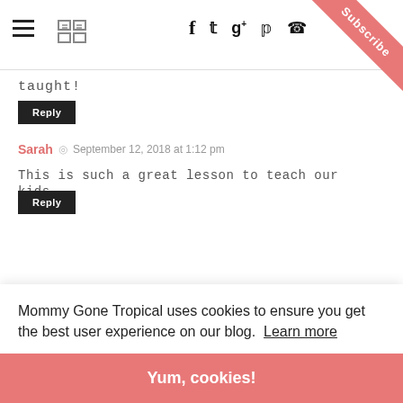Navigation bar with hamburger menu, grid icon, and social icons (f, twitter, g+, pinterest, instagram). Subscribe ribbon in top right corner.
taught!
Reply
Sarah  ◎  September 12, 2018 at 1:12 pm
This is such a great lesson to teach our kids.
Reply
Mommy Gone Tropical uses cookies to ensure you get the best user experience on our blog.  Learn more
Yum, cookies!